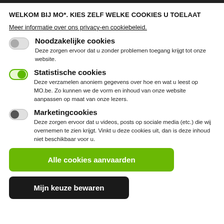WELKOM BIJ MO*. KIES ZELF WELKE COOKIES U TOELAAT
Meer informatie over ons privacy-en cookiebeleid.
Noodzakelijke cookies
Deze zorgen ervoor dat u zonder problemen toegang krijgt tot onze website.
Statistische cookies
Deze verzamelen anoniem gegevens over hoe en wat u leest op MO.be. Zo kunnen we de vorm en inhoud van onze website aanpassen op maat van onze lezers.
Marketingcookies
Deze zorgen ervoor dat u videos, posts op sociale media (etc.) die wij overnemen te zien krijgt. Vinkt u deze cookies uit, dan is deze inhoud niet beschikbaar voor u.
Alle cookies aanvaarden
Mijn keuze bewaren